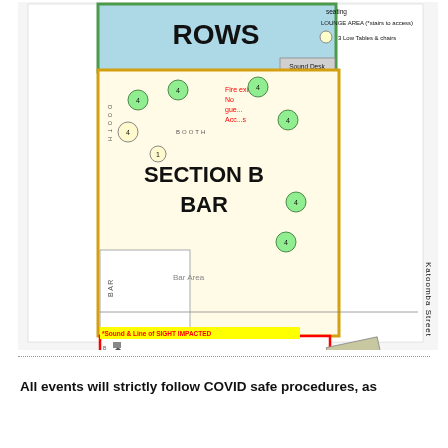[Figure (other): Venue seating map for The Carrington Hotel Driveway showing Section B Bar (orange bordered region with green circle tables), Section C Lounge (red bordered region), lounge area with low tables, sound desk, merch desk, check in, entry/exit points, BOOTH sections, bar area, and a note about Sound & Line of SIGHT IMPACTED areas. Text labels include ROWS, SECTION B BAR, SECTION C LOUNGE, Bar Area, Lounge, ENTRY, EXIT, Bathrooms, Katoomba Street, *note steps to access lounge, *Sound & Line of SIGHT IMPACTED, To carrington Driveway, Page 1 of 1, The Carrington Hotel Driveway.]
All events will strictly follow COVID safe procedures, as